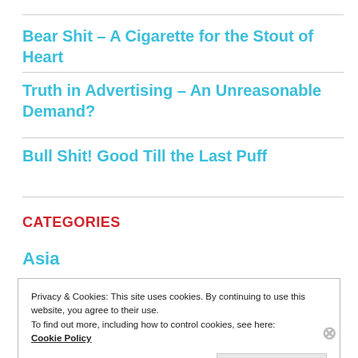Bear Shit – A Cigarette for the Stout of Heart
Truth in Advertising – An Unreasonable Demand?
Bull Shit! Good Till the Last Puff
CATEGORIES
Asia
Privacy & Cookies: This site uses cookies. By continuing to use this website, you agree to their use.
To find out more, including how to control cookies, see here:
Cookie Policy
Close and accept